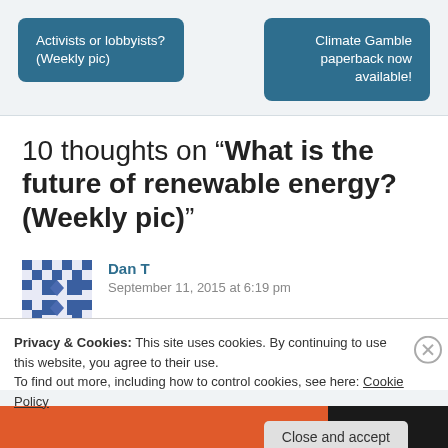Activists or lobbyists? (Weekly pic)
Climate Gamble paperback now available!
10 thoughts on “What is the future of renewable energy? (Weekly pic)”
Dan T
September 11, 2015 at 6:19 pm
Privacy & Cookies: This site uses cookies. By continuing to use this website, you agree to their use.
To find out more, including how to control cookies, see here: Cookie Policy
Close and accept